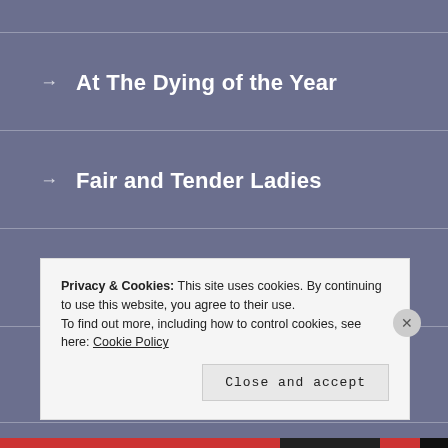→ At The Dying of the Year
→ Fair and Tender Ladies
→ By The Law
→ Free From All Danger
Privacy & Cookies: This site uses cookies. By continuing to use this website, you agree to their use.
To find out more, including how to control cookies, see here: Cookie Policy
Close and accept